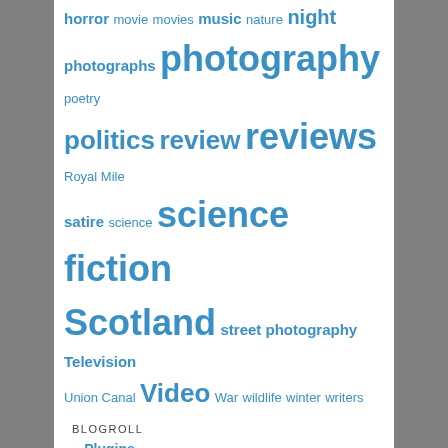[Figure (other): Tag cloud with words of varying sizes in blue: horror, movie, movies, music, nature, night, photographs, photography, poetry, politics, review, reviews, Royal Mile, satire, science, science fiction, Scotland, street photography, Television, Union Canal, Video, War, wildlife, winter, writers]
BLOGROLL
Plugins
Support Forum
BOOKS, COMICS, GRAPHIC NOVELS & OTHER LITERATURE
Ansible
Collected Comics Library
Comics Reporter